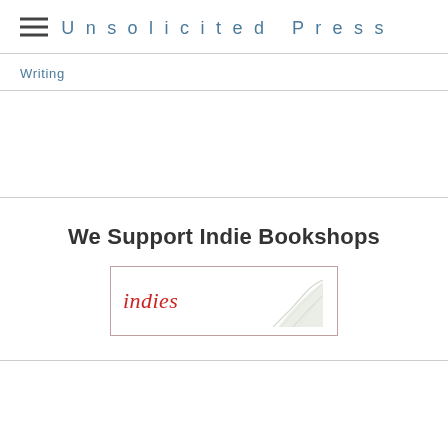Unsolicited Press
Writing
We Support Indie Bookshops
[Figure (logo): Indies logo badge: red italic text 'indies' with stylized leaf/plant graphic on the right side, bordered rectangle]